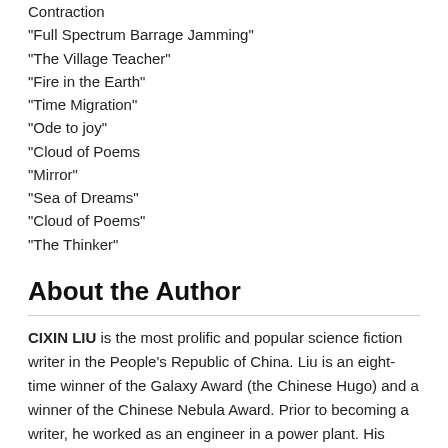Contraction
"Full Spectrum Barrage Jamming"
"The Village Teacher"
"Fire in the Earth"
"Time Migration"
"Ode to joy"
"Cloud of Poems
"Mirror"
"Sea of Dreams"
"Cloud of Poems"
"The Thinker"
About the Author
CIXIN LIU is the most prolific and popular science fiction writer in the People's Republic of China. Liu is an eight-time winner of the Galaxy Award (the Chinese Hugo) and a winner of the Chinese Nebula Award. Prior to becoming a writer, he worked as an engineer in a power plant. His novels include The Three-Body Problem, The